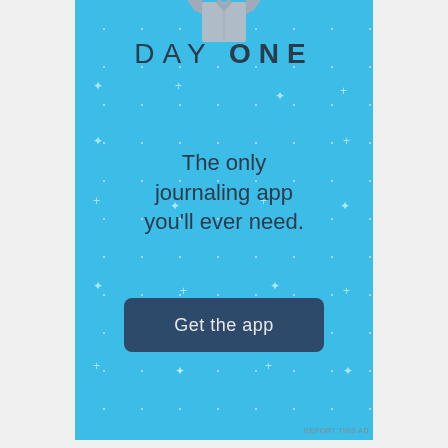[Figure (illustration): Day One journaling app advertisement on a light blue background with sparkle/star decorations, showing a grey shirt illustration at the top, the 'DAY ONE' logo in dark text, a tagline, and a 'Get the app' call-to-action button]
DAY ONE
The only journaling app you'll ever need.
Get the app
REPORT THIS AD